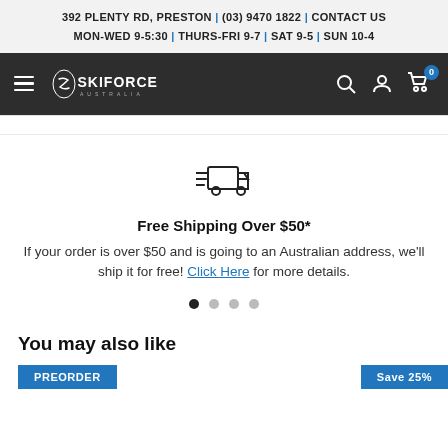392 PLENTY RD, PRESTON | (03) 9470 1822 | CONTACT US
MON-WED 9-5:30 | THURS-FRI 9-7 | SAT 9-5 | SUN 10-4
[Figure (logo): Ski Force Australia logo with navigation icons (hamburger menu, search, user, cart with 0 badge) on dark background]
[Figure (illustration): Delivery truck icon with speed lines]
Free Shipping Over $50*
If your order is over $50 and is going to an Australian address, we'll ship it for free! Click Here for more details.
You may also like
PREORDER
Save 25%